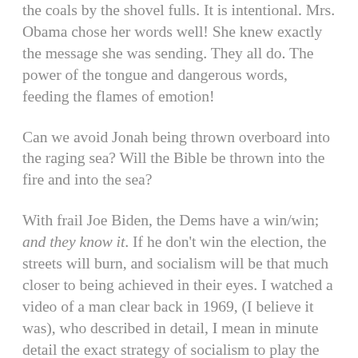the coals by the shovel fulls. It is intentional. Mrs. Obama chose her words well! She knew exactly the message she was sending. They all do. The power of the tongue and dangerous words, feeding the flames of emotion!
Can we avoid Jonah being thrown overboard into the raging sea? Will the Bible be thrown into the fire and into the sea?
With frail Joe Biden, the Dems have a win/win; and they know it. If he don't win the election, the streets will burn, and socialism will be that much closer to being achieved in their eyes. I watched a video of a man clear back in 1969, (I believe it was), who described in detail, I mean in minute detail the exact strategy of socialism to play the “race and hate” card to overthrow democracy in America. He knew every step and strategy back in 1969! I am watching every step he described being played out before my eyes! It's uncanny! But not so surprising when you understand the true